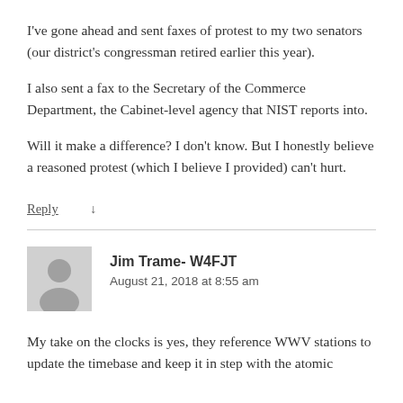I've gone ahead and sent faxes of protest to my two senators (our district's congressman retired earlier this year).
I also sent a fax to the Secretary of the Commerce Department, the Cabinet-level agency that NIST reports into.
Will it make a difference? I don't know. But I honestly believe a reasoned protest (which I believe I provided) can't hurt.
Reply ↓
Jim Trame- W4FJT
August 21, 2018 at 8:55 am
My take on the clocks is yes, they reference WWV stations to update the timebase and keep it in step with the atomic